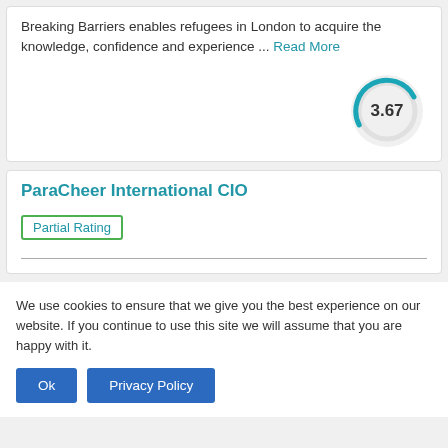Breaking Barriers enables refugees in London to acquire the knowledge, confidence and experience ... Read More
[Figure (other): Gauge/donut chart showing score 3.67]
ParaCheer International CIO
Partial Rating
We use cookies to ensure that we give you the best experience on our website. If you continue to use this site we will assume that you are happy with it.
Ok  Privacy Policy